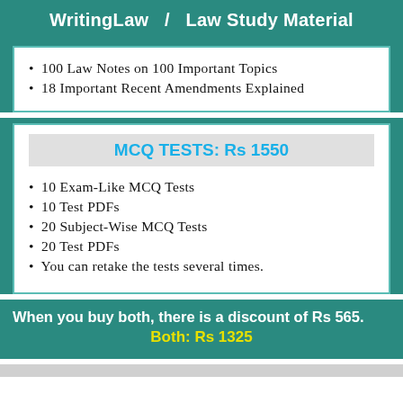WritingLaw  /  Law Study Material
100 Law Notes on 100 Important Topics
18 Important Recent Amendments Explained
MCQ TESTS: Rs 1550
10 Exam-Like MCQ Tests
10 Test PDFs
20 Subject-Wise MCQ Tests
20 Test PDFs
You can retake the tests several times.
When you buy both, there is a discount of Rs 565.
Both: Rs 1325